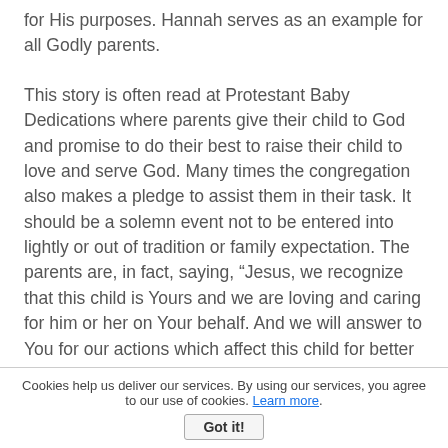for His purposes.  Hannah serves as an example for all Godly parents.
This story is often read at Protestant Baby Dedications where parents give their child to God and promise to do their best to raise their child to love and serve God.  Many times the congregation also makes a pledge to assist them in their task.  It should be a solemn event not to be entered into lightly or out of tradition or family expectation.  The parents are, in fact, saying, “Jesus, we recognize that this child is Yours and we are loving and caring for him or her on Your behalf.  And we will answer to You for our actions which affect this child for better or worse.”  It is also a trust that Jesus will enable them, as parents, to met the challenges that arise and will be at work in the child’s life to bring him or her to a saving knowledge of Jesus Christ and fulfill the purpose for which they were born.
Cookies help us deliver our services. By using our services, you agree to our use of cookies. Learn more. Got it!